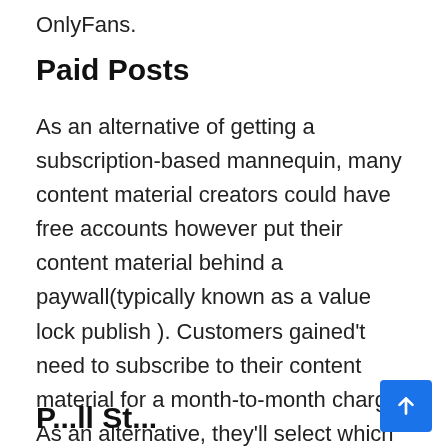OnlyFans.
Paid Posts
As an alternative of getting a subscription-based mannequin, many content material creators could have free accounts however put their content material behind a paywall(typically known as a value lock publish ). Customers gained't need to subscribe to their content material for a month-to-month charge. As an alternative, they'll select which of those price-locked posts they unlock by paying for these particular movies, posts, or different content material.
D...St...i...